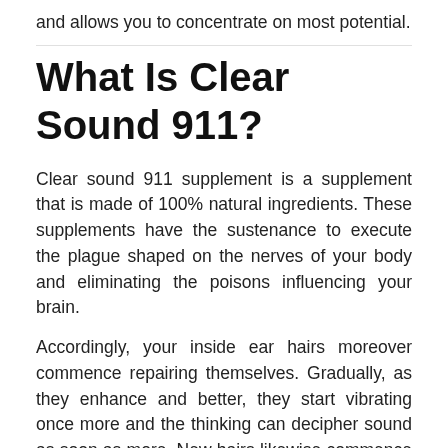and allows you to concentrate on most potential.
What Is Clear Sound 911?
Clear sound 911 supplement is a supplement that is made of 100% natural ingredients. These supplements have the sustenance to execute the plague shaped on the nerves of your body and eliminating the poisons influencing your brain.
Accordingly, your inside ear hairs moreover commence repairing themselves. Gradually, as they enhance and better, they start vibrating once more and the thinking can decipher sound as soon as more. New hairs likewise commence growing, which step by step drives you in the